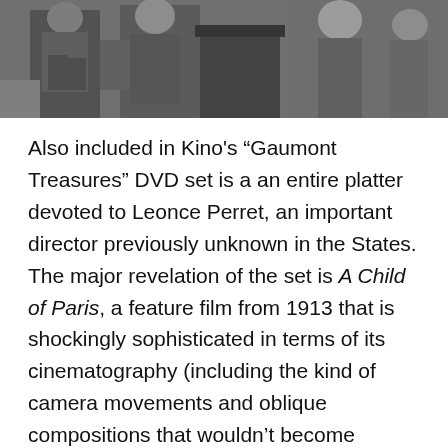[Figure (photo): Black and white photograph showing several people in an indoor setting, appears to be a historical film still]
Also included in Kino's “Gaumont Treasures” DVD set is a an entire platter devoted to Leonce Perret, an important director previously unknown in the States. The major revelation of the set is A Child of Paris, a feature film from 1913 that is shockingly sophisticated in terms of its cinematography (including the kind of camera movements and oblique compositions that wouldn’t become commonplace for years to come). The Dickensian story concerns a little girl who becomes an orphan, is sent to a boarding school, runs away and then is kidnapped by a gang of thieves. The acting is surprisingly naturalistic for the time and the use of real locations – in Paris and Nice – is impressive in the extreme.